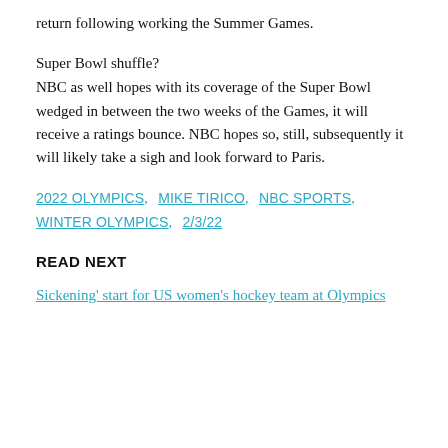return following working the Summer Games.
Super Bowl shuffle?
NBC as well hopes with its coverage of the Super Bowl wedged in between the two weeks of the Games, it will receive a ratings bounce. NBC hopes so, still, subsequently it will likely take a sigh and look forward to Paris.
2022 OLYMPICS,   MIKE TIRICO,   NBC SPORTS, WINTER OLYMPICS,   2/3/22
READ NEXT
Sickening' start for US women's hockey team at Olympics